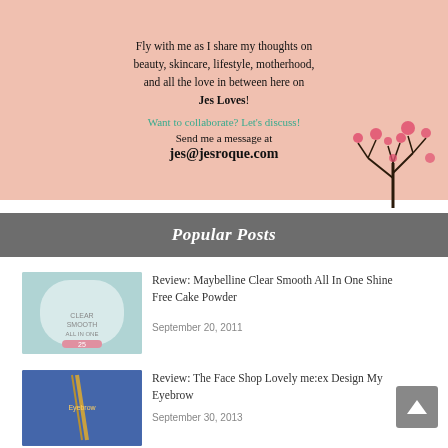[Figure (illustration): Pink banner with text about the Jes Loves blog, collaboration invite, and email address, with decorative heart tree and pink splatter illustrations.]
Popular Posts
[Figure (photo): Thumbnail image of Maybelline Clear Smooth All In One Shine Free Cake Powder product]
Review: Maybelline Clear Smooth All In One Shine Free Cake Powder
September 20, 2011
[Figure (photo): Thumbnail image of The Face Shop Lovely me:ex Design My Eyebrow pencil product]
Review: The Face Shop Lovely me:ex Design My Eyebrow
September 30, 2013